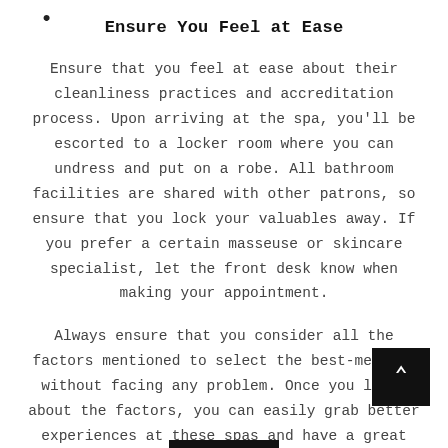Ensure You Feel at Ease
Ensure that you feel at ease about their cleanliness practices and accreditation process. Upon arriving at the spa, you'll be escorted to a locker room where you can undress and put on a robe. All bathroom facilities are shared with other patrons, so ensure that you lock your valuables away. If you prefer a certain masseuse or skincare specialist, let the front desk know when making your appointment.
Always ensure that you consider all the factors mentioned to select the best-med spa without facing any problem. Once you learn about the factors, you can easily grab better experiences at these spas and have a great impact on your health and lifestyle.